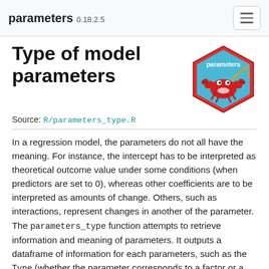parameters 0.18.2.5
Type of model parameters
[Figure (logo): Hexagonal sticker logo for the 'parameters' R package, featuring a red hexagon with blue background and an illustration of a red crab-like creature with a yellow fishing rod.]
Source: R/parameters_type.R
In a regression model, the parameters do not all have the meaning. For instance, the intercept has to be interpreted as theoretical outcome value under some conditions (when predictors are set to 0), whereas other coefficients are to be interpreted as amounts of change. Others, such as interactions, represent changes in another of the parameter. The parameters_type function attempts to retrieve information and meaning of parameters. It outputs a dataframe of information for each parameters, such as the Type (whether the parameter corresponds to a factor or a numeric predictor, or whether it is a (regular) interaction or a nested one), the Link (whether the parameter can be interpreted as a mean value, the slope of an association or a difference between two levels) and,